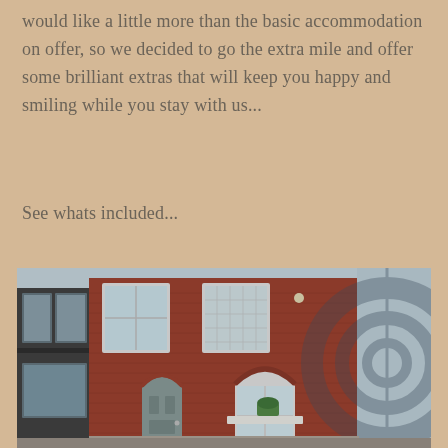would like a little more than the basic accommodation on offer, so we decided to go the extra mile and offer some brilliant extras that will keep you happy and smiling while you stay with us...
See whats included...
[Figure (photo): Exterior photo of a red brick terraced house with a grey front door, two windows on the ground floor and two on the upper floor, with a watermark overlay of a circular logo on the right side.]